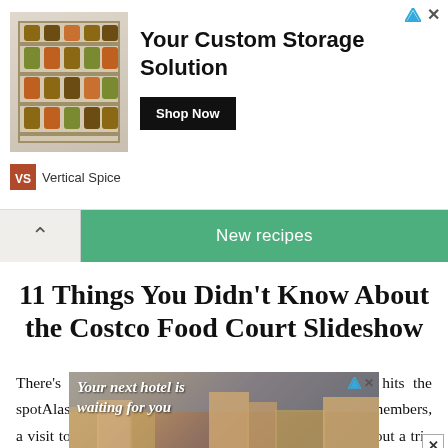[Figure (screenshot): Top advertisement banner for Vertical Spice showing a spice rack storage unit, bold text 'Your Custom Storage Solution', a 'Shop Now' button, and 'Vertical Spice' brand name at bottom left.]
[Figure (screenshot): Navigation bar with back arrow on left and green 'New recipes' button in center, on a tan/beige background.]
11 Things You Didn't Know About the Costco Food Court Slideshow
There’s something about the food sold here that just hits the spotAlastair Wallace/Shutterstock.comFor many Costco members, a visit to the popular warehouse store isn’t complete without a trip to their food court. Whether it’s a gargantuan slice of saggy, cheesy pizza, a somewha
[Figure (screenshot): Bottom advertisement for Hotels.com showing a photo of a hotel/resort with text 'Your next hotel is waiting for you', Hotels.com logo, and 'BOOK NOW' button on red background.]